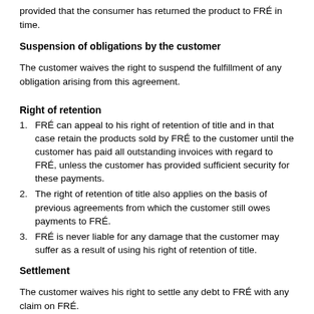provided that the consumer has returned the product to FRÉ in time.
Suspension of obligations by the customer
The customer waives the right to suspend the fulfillment of any obligation arising from this agreement.
Right of retention
FRÉ can appeal to his right of retention of title and in that case retain the products sold by FRÉ to the customer until the customer has paid all outstanding invoices with regard to FRÉ, unless the customer has provided sufficient security for these payments.
The right of retention of title also applies on the basis of previous agreements from which the customer still owes payments to FRÉ.
FRÉ is never liable for any damage that the customer may suffer as a result of using his right of retention of title.
Settlement
The customer waives his right to settle any debt to FRÉ with any claim on FRÉ.